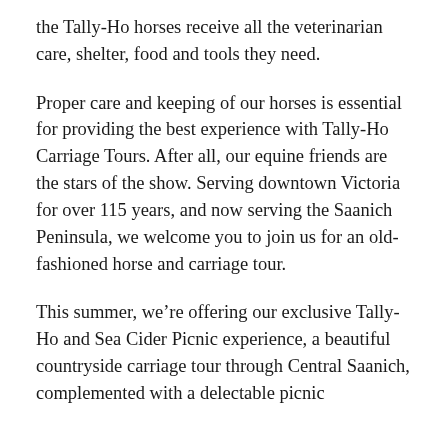the Tally-Ho horses receive all the veterinarian care, shelter, food and tools they need.
Proper care and keeping of our horses is essential for providing the best experience with Tally-Ho Carriage Tours. After all, our equine friends are the stars of the show. Serving downtown Victoria for over 115 years, and now serving the Saanich Peninsula, we welcome you to join us for an old-fashioned horse and carriage tour.
This summer, we're offering our exclusive Tally-Ho and Sea Cider Picnic experience, a beautiful countryside carriage tour through Central Saanich, complemented with a delectable picnic